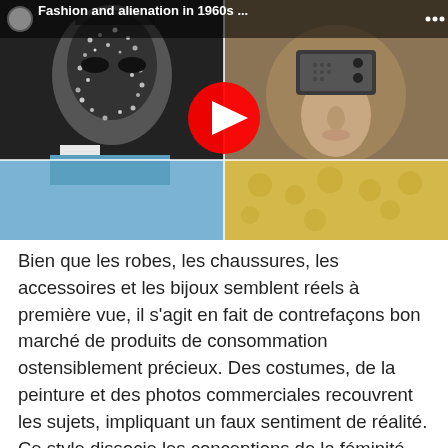[Figure (screenshot): YouTube video thumbnail titled 'Fashion and alienation in 1960s ...' showing a collage of four images: top-left is a black-and-white close-up of a woman's face covered in sequins or beads; top-right is a mannequin head with an old radio/TV device where the eyes would be; bottom-left shows a blue garment; bottom-right shows a yellow floral garment. A red YouTube play button is centered on the image. Top-left corner shows a YouTube channel avatar and the title text.]
Bien que les robes, les chaussures, les accessoires et les bijoux semblent réels à première vue, il s'agit en fait de contrefaçons bon marché de produits de consommation ostensiblement précieux. Des costumes, de la peinture et des photos commerciales recouvrent les sujets, impliquant un faux sentiment de réalité. Ce style dissocie les conceptions de la féminité de la réalité, au lieu de considérer le concept comme une récurrence d'idées fictif...